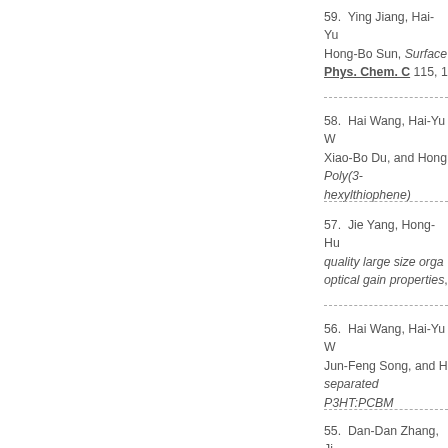59. Ying Jiang, Hai-Yu… Hong-Bo Sun, Surface… Phys. Chem. C 115, 1…
58. Hai Wang, Hai-Yu W… Xiao-Bo Du, and Hong… Poly(3-hexylthiophene)…
57. Jie Yang, Hong-Hu… quality large size orga… optical gain properties,…
56. Hai Wang, Hai-Yu W… Jun-Feng Song, and H… separated P3HT:PCBM…
55. Dan-Dan Zhang, Ji… and Hong-Bo Sun, The… organic light emitting d…